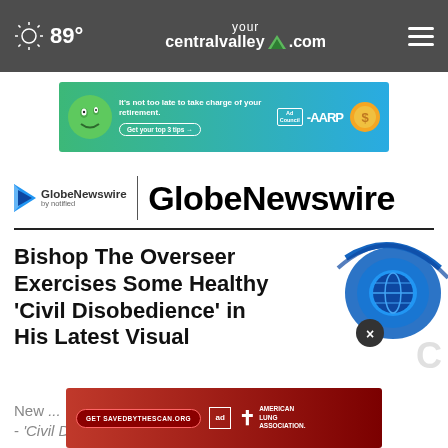89° yourcentralvalley.com
[Figure (screenshot): AARP advertisement banner: green gradient background with cartoon face, text 'It's not too late to take charge of your retirement. Get your top 3 tips', Ad Council badge, AARP logo, and gold sun coin]
[Figure (logo): GlobeNewswire by notified logo with play-button triangle icon, followed by vertical divider and large bold text 'GlobeNewswire']
Bishop The Overseer Exercises Some Healthy 'Civil Disobedience' in His Latest Visual
New ... - 'Civil Disobedience' by
[Figure (illustration): Globe and satellite/network logo for GlobeNewswire, blue circular design with a globe icon, overlaid with a dark circular close button with an X]
[Figure (screenshot): American Lung Association advertisement: dark red gradient background, button 'Get SAVEDBYTHESCAN.ORG', Ad Council badge, American Lung Association cross logo]